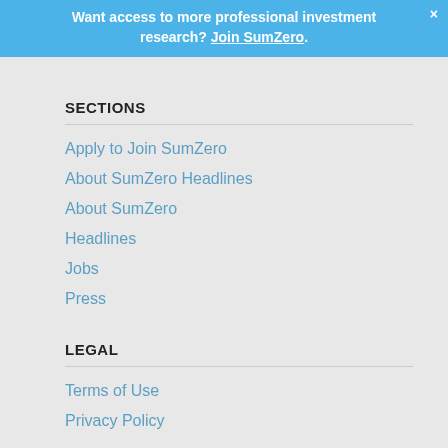Want access to more professional investment research? Join SumZero.
SECTIONS
Apply to Join SumZero
About SumZero Headlines
About SumZero
Headlines
Jobs
Press
LEGAL
Terms of Use
Privacy Policy